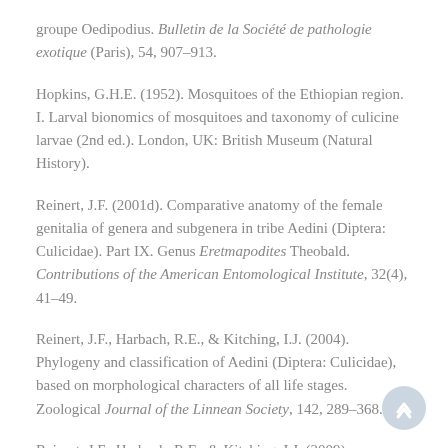groupe Oedipodius. Bulletin de la Société de pathologie exotique (Paris), 54, 907–913.
Hopkins, G.H.E. (1952). Mosquitoes of the Ethiopian region. I. Larval bionomics of mosquitoes and taxonomy of culicine larvae (2nd ed.). London, UK: British Museum (Natural History).
Reinert, J.F. (2001d). Comparative anatomy of the female genitalia of genera and subgenera in tribe Aedini (Diptera: Culicidae). Part IX. Genus Eretmapodites Theobald. Contributions of the American Entomological Institute, 32(4), 41–49.
Reinert, J.F., Harbach, R.E., & Kitching, I.J. (2004). Phylogeny and classification of Aedini (Diptera: Culicidae), based on morphological characters of all life stages. Zoological Journal of the Linnean Society, 142, 289–368.
Reinert, J.F., Harbach, R.E., & Kitching, I.J. (2009). Phylogeny